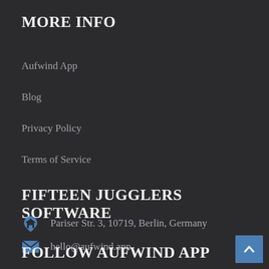MORE INFO
Aufwind App
Blog
Privacy Policy
Terms of Service
FIFTEEN JUGGLERS SOFTWARE
Pariser Str. 3, 10719, Berlin, Germany
hello@aufwind.app
FOLLOW AUFWIND APP